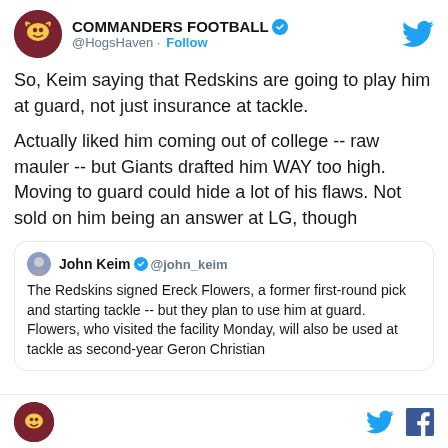COMMANDERS FOOTBALL @HogsHaven · Follow
So, Keim saying that Redskins are going to play him at guard, not just insurance at tackle.
Actually liked him coming out of college -- raw mauler -- but Giants drafted him WAY too high. Moving to guard could hide a lot of his flaws. Not sold on him being an answer at LG, though
John Keim @john_keim
The Redskins signed Ereck Flowers, a former first-round pick and starting tackle -- but they plan to use him at guard. Flowers, who visited the facility Monday, will also be used at tackle as second-year Geron Christian